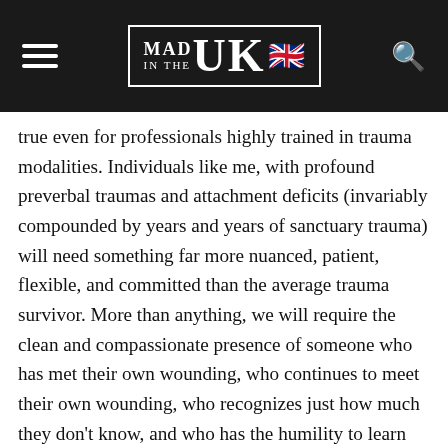Mad in the UK
true even for professionals highly trained in trauma modalities. Individuals like me, with profound preverbal traumas and attachment deficits (invariably compounded by years and years of sanctuary trauma) will need something far more nuanced, patient, flexible, and committed than the average trauma survivor. More than anything, we will require the clean and compassionate presence of someone who has met their own wounding, who continues to meet their own wounding, who recognizes just how much they don't know, and who has the humility to learn from their clients and to be open to being changed by the relationship, too…no matter how uncomfortable or inconvenient new awarenesses may be. People like me struggle profoundly to connect and feel safe, though it bears saying that we unequivocally do not need to be patronized or diminished for it. We are not children, and we most certainly are